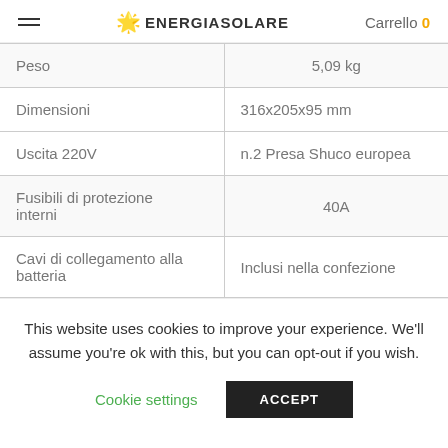ENERGIASOLARE   Carrello 0
| Caratteristica | Valore |
| --- | --- |
| Peso | 5,09 kg |
| Dimensioni | 316x205x95 mm |
| Uscita 220V | n.2 Presa Shuco europea |
| Fusibili di protezione interni | 40A |
| Cavi di collegamento alla batteria | Inclusi nella confezione |
This website uses cookies to improve your experience. We'll assume you're ok with this, but you can opt-out if you wish.
Cookie settings   ACCEPT